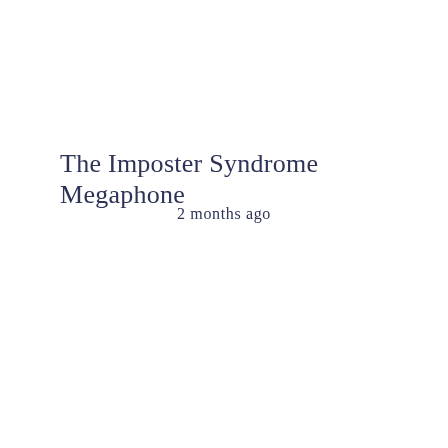The Imposter Syndrome Megaphone
2 months ago